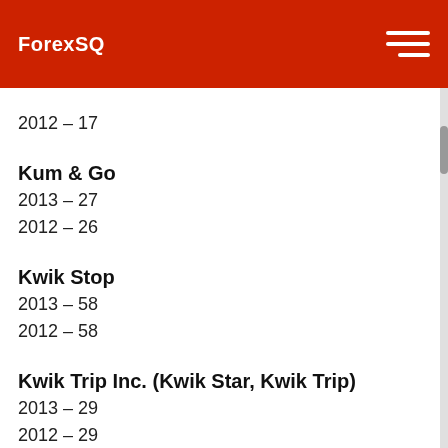ForexSQ
2012 – 17
Kum & Go
2013 – 27
2012 – 26
Kwik Stop
2013 – 58
2012 – 58
Kwik Trip Inc. (Kwik Star, Kwik Trip)
2013 – 29
2012 – 29